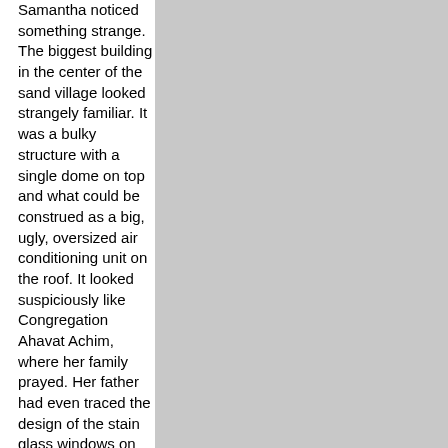Samantha noticed something strange. The biggest building in the center of the sand village looked strangely familiar. It was a bulky structure with a single dome on top and what could be construed as a big, ugly, oversized air conditioning unit on the roof. It looked suspiciously like Congregation Ahavat Achim, where her family prayed. Her father had even traced the design of the stain glass windows on the outside of the